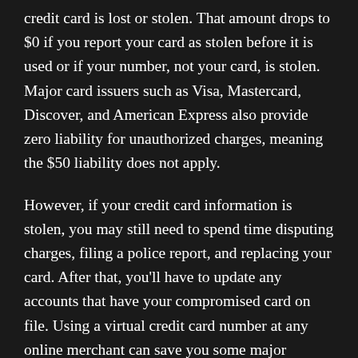credit card is lost or stolen. That amount drops to $0 if you report your card as stolen before it is used or if your number, not your card, is stolen. Major card issuers such as Visa, Mastercard, Discover, and American Express also provide zero liability for unauthorized charges, meaning the $50 liability does not apply.
However, if your credit card information is stolen, you may still need to spend time disputing charges, filing a police report, and replacing your card. After that, you'll have to update any accounts that have your compromised card on file. Using a virtual credit card number at any online merchant can save you some major headaches if that merchant is ever hacked or compromised.
The benefits are even clearer when you examine the laws surrounding ATM and debit cards, which are determined